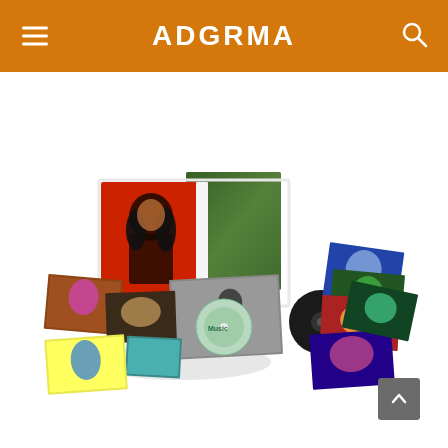ADGRMA
[Figure (photo): A music box set product photo showing a collector's edition box set with a portrait of a rock musician with long dark hair on a red background, spread out with multiple photo cards/prints, a CD, vinyl record, and various other collectible items arranged on a white background.]